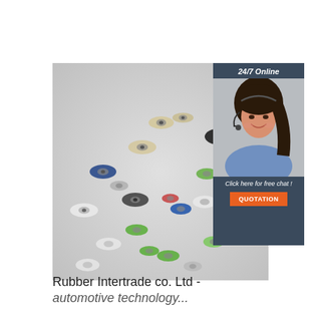[Figure (photo): Photo of many small rubber-coated bearings/wheels scattered on a light gray surface, in various colors including white, green, blue, dark gray, black, and beige]
[Figure (photo): Sidebar showing a woman with a headset smiling (customer service representative), with dark navy background, '24/7 Online' text at top, 'Click here for free chat!' text, and an orange 'QUOTATION' button]
Rubber Intertrade co. Ltd - automotive technology...